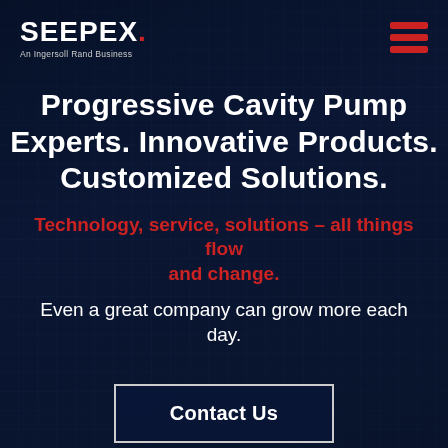[Figure (screenshot): Dark blue technology background with circuit board / digital pattern overlay and semi-transparent dark overlay. SEEPEX logo with 'An Ingersoll Rand Business' tagline in top left. Red hamburger menu icon in top right.]
Progressive Cavity Pump Experts. Innovative Products. Customized Solutions.
Technology, service, solutions – all things flow and change.
Even a great company can grow more each day.
Contact Us